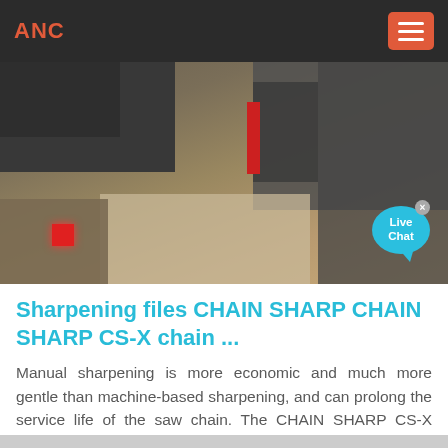ANC
[Figure (screenshot): Game screenshot showing an isometric/top-down view of a urban environment with buildings, sandy ground, and red accent elements. A 'Live Chat' chat bubble overlay appears in the bottom right corner.]
Sharpening files CHAIN SHARP CHAIN SHARP CS-X chain ...
Manual sharpening is more economic and much more gentle than machine-based sharpening, and can prolong the service life of the saw chain. The CHAIN SHARP CS-X chain saw sharpener stands out due to its excellent file position, ergonomic shape and easier operation. The device provides a ...